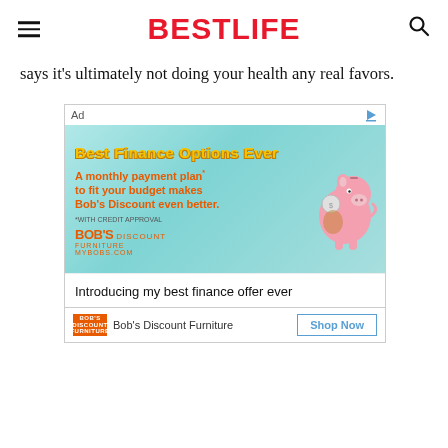BESTLIFE
says it's ultimately not doing your health any real favors.
[Figure (other): Advertisement for Bob's Discount Furniture featuring a pig bank character and text 'Best Finance Options Ever'. Ad includes text 'A monthly payment plan to fit your budget makes Bob's Discount even better.' with Bob's Furniture branding and mybobs.com URL. Bottom shows advertiser info and Shop Now button.]